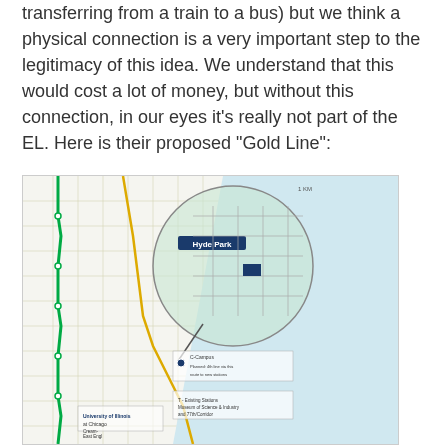transferring from a train to a bus) but we think a physical connection is a very important step to the legitimacy of this idea. We understand that this would cost a lot of money, but without this connection, in our eyes it's really not part of the EL. Here is their proposed "Gold Line":
[Figure (map): A transit map showing the proposed Gold Line route in the Chicago area, with a circular inset magnifying the Hyde Park neighborhood area. The map shows train lines including green and yellow lines, street grid, Lake Michigan shoreline, and various station stops. The Hyde Park label is highlighted in a dark blue box.]